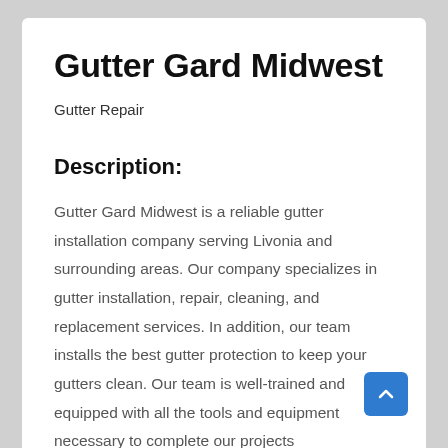Gutter Gard Midwest
Gutter Repair
Description:
Gutter Gard Midwest is a reliable gutter installation company serving Livonia and surrounding areas. Our company specializes in gutter installation, repair, cleaning, and replacement services. In addition, our team installs the best gutter protection to keep your gutters clean. Our team is well-trained and equipped with all the tools and equipment necessary to complete our projects professionally. As the number one Livonia gutter installation company, we have built an excellent reputation serving residents and